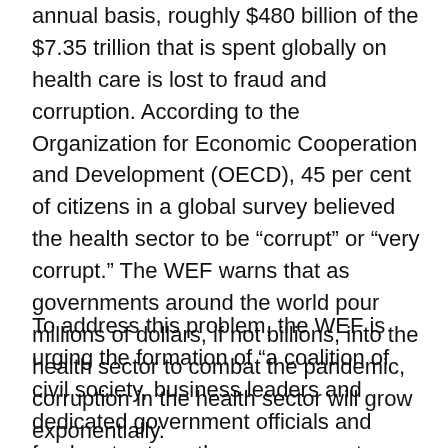annual basis, roughly $480 billion of the $7.35 trillion that is spent globally on health care is lost to fraud and corruption. According to the Organization for Economic Cooperation and Development (OECD), 45 per cent of citizens in a global survey believed the health sector to be “corrupt” or “very corrupt.” The WEF warns that as governments around the world pour millions of dollars, if not billions, into the health sector to combat the pandemic, corruption in the health sector will grow exponentially.
To address this problem, the WEF is urging the formation of “a coalition of civil society, business leaders and dedicated government officials and funders to strengthen government accountability and effectiveness and change the trajectory of this pandemic and our futures.” How- ever, such a coalition should also target its efforts at promoting wider institutional reforms to address other chronic sources of corruption. The notion that corruption is a major...